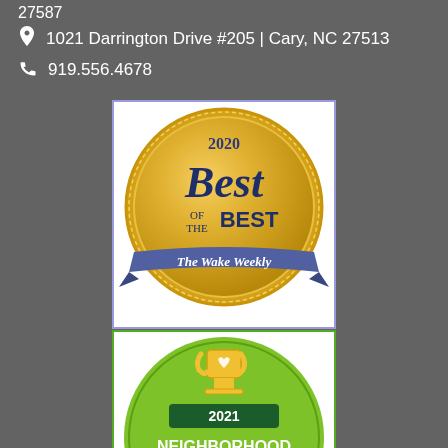27587
1021 Darrington Drive #205 | Cary, NC 27513
919.556.4678
[Figure (logo): 2020 Best of the Best - The Wake Weekly award badge, gold circular medal design]
[Figure (logo): 2021 Neighborhood Favorite - Nextdoor award badge, green circular design with trophy]